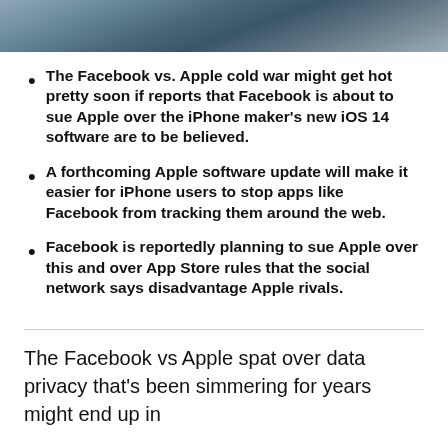[Figure (photo): Partial photo showing a person in a dark suit, likely a public figure, cropped to show the upper body area against a microphone or podium setting.]
The Facebook vs. Apple cold war might get hot pretty soon if reports that Facebook is about to sue Apple over the iPhone maker's new iOS 14 software are to be believed.
A forthcoming Apple software update will make it easier for iPhone users to stop apps like Facebook from tracking them around the web.
Facebook is reportedly planning to sue Apple over this and over App Store rules that the social network says disadvantage Apple rivals.
The Facebook vs Apple spat over data privacy that's been simmering for years might end up in